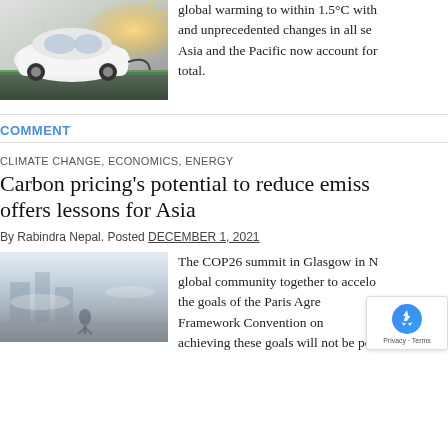[Figure (photo): White electric car being charged, warm sunlight background]
global warming to within 1.5°C with... and unprecedented changes in all se... Asia and the Pacific now account for... total.
COMMENT
CLIMATE CHANGE, ECONOMICS, ENERGY
Carbon pricing's potential to reduce emiss... offers lessons for Asia
By Rabindra Nepal. Posted DECEMBER 1, 2021
[Figure (photo): Foggy outdoor scene, person in hazy environment]
The COP26 summit in Glasgow in N... global community together to accele... the goals of the Paris Agre... Framework Convention on... achieving these goals will not be pos...